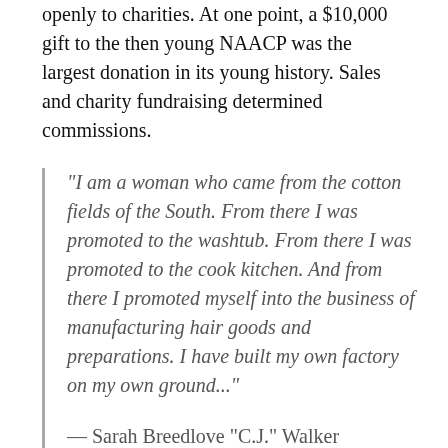openly to charities. At one point, a $10,000 gift to the then young NAACP was the largest donation in its young history. Sales and charity fundraising determined commissions.
“I am a woman who came from the cotton fields of the South. From there I was promoted to the washtub. From there I was promoted to the cook kitchen. And from there I promoted myself into the business of manufacturing hair goods and preparations. I have built my own factory on my own ground...”
— Sarah Breedlove “C.J.” Walker